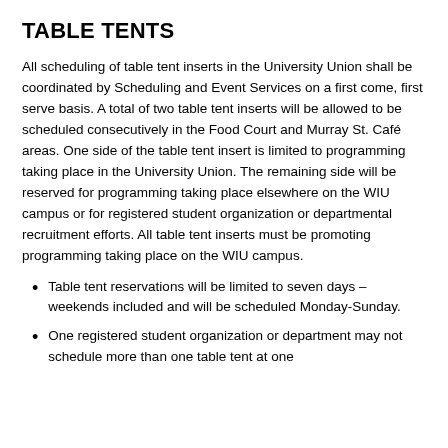TABLE TENTS
All scheduling of table tent inserts in the University Union shall be coordinated by Scheduling and Event Services on a first come, first serve basis. A total of two table tent inserts will be allowed to be scheduled consecutively in the Food Court and Murray St. Café areas. One side of the table tent insert is limited to programming taking place in the University Union. The remaining side will be reserved for programming taking place elsewhere on the WIU campus or for registered student organization or departmental recruitment efforts. All table tent inserts must be promoting programming taking place on the WIU campus.
Table tent reservations will be limited to seven days – weekends included and will be scheduled Monday-Sunday.
One registered student organization or department may not schedule more than one table tent at one